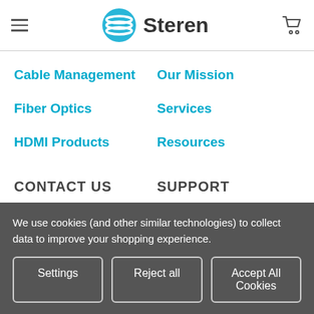[Figure (logo): Steren brand logo with blue wave/globe icon and bold 'Steren' text]
Cable Management
Our Mission
Fiber Optics
Services
HDMI Products
Resources
CONTACT US
SUPPORT
Contact Us
Track Orders
Business Solutions
Shipping & Delivery
We use cookies (and other similar technologies) to collect data to improve your shopping experience.
Settings | Reject all | Accept All Cookies